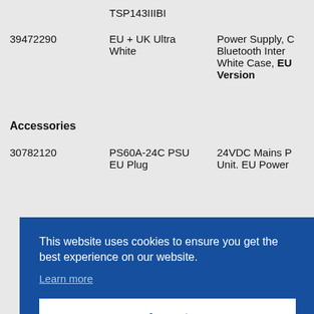|  | TSP143IIIBI |  |
| --- | --- | --- |
| 39472290 | EU + UK Ultra White | Power Supply, C Bluetooth Inter White Case, EU Version |
| Accessories |  |  |
| 30782120 | PS60A-24C PSU EU Plug | 24VDC Mains P Unit. EU Power |
|  |  | Mains P K Power |
|  |  | Proof Co |
|  |  | Desk S |
This website uses cookies to ensure you get the best experience on our website.
Learn more
Accept